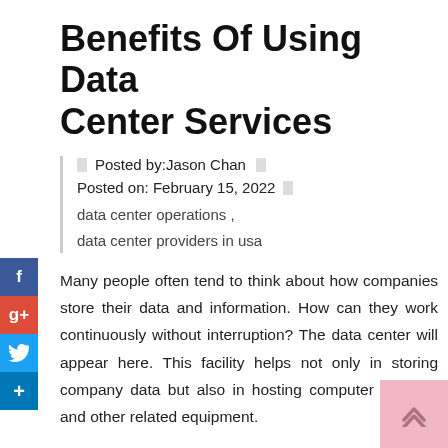Benefits Of Using Data Center Services
Posted by:Jason Chan
Posted on: February 15, 2022
data center operations , data center providers in usa
Many people often tend to think about how companies store their data and information. How can they work continuously without interruption? The data center will appear here. This facility helps not only in storing company data but also in hosting computer systems and other related equipment.